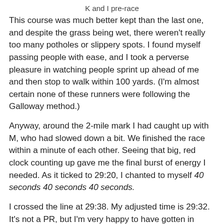K and I pre-race
This course was much better kept than the last one, and despite the grass being wet, there weren't really too many potholes or slippery spots. I found myself passing people with ease, and I took a perverse pleasure in watching people sprint up ahead of me and then stop to walk within 100 yards. (I'm almost certain none of these runners were following the Galloway method.)
Anyway, around the 2-mile mark I had caught up with M, who had slowed down a bit. We finished the race within a minute of each other. Seeing that big, red clock counting up gave me the final burst of energy I needed. As it ticked to 29:20, I chanted to myself 40 seconds 40 seconds 40 seconds.
I crossed the line at 29:38. My adjusted time is 29:32. It's not a PR, but I'm very happy to have gotten in under 30. I felt the terrain challenging my every step, but it was a good and fulfilling kind of challenge to undertake. I hardly felt I was "digging deep" and really pushing myself except for at the half-way point, but the course beat me up pretty good and I